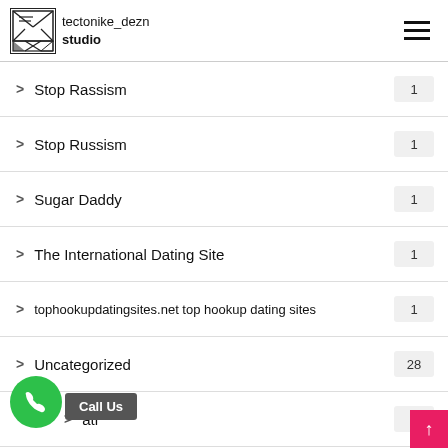tectonike_dezn studio
> Stop Rassism   1
> Stop Russism   1
> Sugar Daddy   1
> The International Dating Site   1
> tophookupdatingsites.net top hookup dating sites   1
> Uncategorized   28
> atr   1